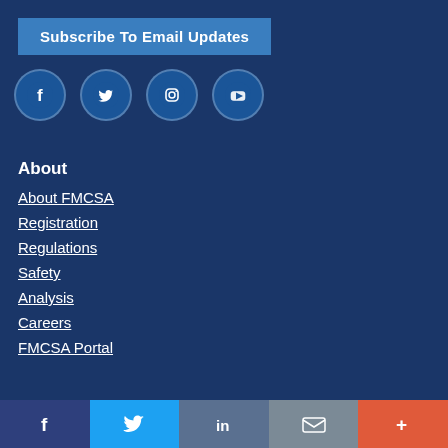Subscribe To Email Updates
[Figure (illustration): Social media icons: Facebook, Twitter, Instagram, YouTube in dark blue circles]
About
About FMCSA
Registration
Regulations
Safety
Analysis
Careers
FMCSA Portal
Social share bar: Facebook, Twitter, LinkedIn, Email, More